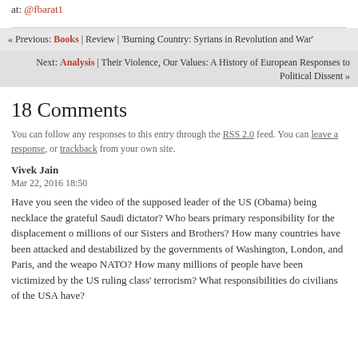at: @fbarat1
« Previous: Books | Review | 'Burning Country: Syrians in Revolution and War'
Next: Analysis | Their Violence, Our Values: A History of European Responses to Political Dissent »
18 Comments
You can follow any responses to this entry through the RSS 2.0 feed. You can leave a response, or trackback from your own site.
Vivek Jain
Mar 22, 2016 18:50
Have you seen the video of the supposed leader of the US (Obama) being necklace the grateful Saudi dictator? Who bears primary responsibility for the displacement o millions of our Sisters and Brothers? How many countries have been attacked and destabilized by the governments of Washington, London, and Paris, and the weapo NATO? How many millions of people have been victimized by the US ruling class' terrorism? What responsibilities do civilians of the USA have?